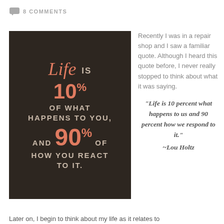8 COMMENTS
[Figure (illustration): Dark brown motivational quote poster: 'Life is 10% OF WHAT HAPPENS TO YOU, AND 90% OF HOW YOU REACT TO IT.' with coral/salmon colored numbers and white/tan text on dark background.]
Recently I was in a repair shop and I saw a familiar quote. Although I heard this quote before, I never really stopped to think about what it was saying.
“Life is 10 percent what happens to us and 90 percent how we respond to it.” ~Lou Holtz
Later on, I begin to think about my life as it relates to the...